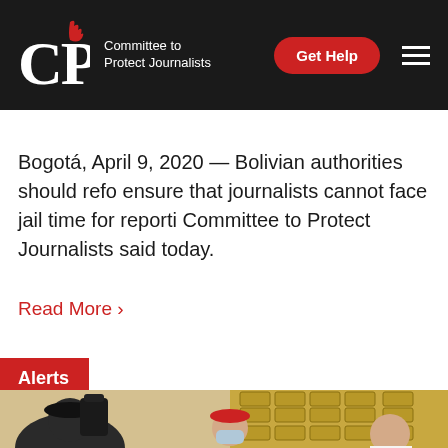CPJ — Committee to Protect Journalists | Get Help
Bogotá, April 9, 2020 — Bolivian authorities should reform ensure that journalists cannot face jail time for reporting Committee to Protect Journalists said today.
Read More ›
Alerts
[Figure (photo): Photo showing journalists or people seated near stacked gold chairs, one person wearing a red cap and face mask, another person visible on the right]